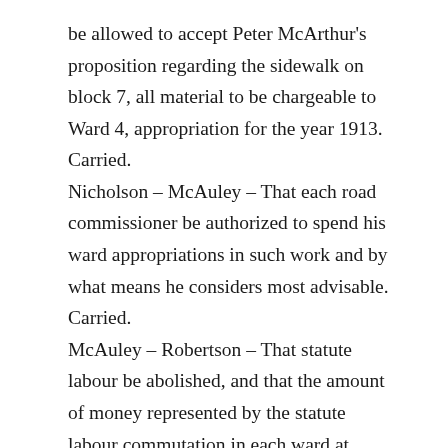be allowed to accept Peter McArthur's proposition regarding the sidewalk on block 7, all material to be chargeable to Ward 4, appropriation for the year 1913. Carried.
Nicholson – McAuley – That each road commissioner be authorized to spend his ward appropriations in such work and by what means he considers most advisable. Carried.
McAuley – Robertson – That statute labour be abolished, and that the amount of money represented by the statute labour commutation in each ward at $4.50 per quarter section, be added respectively to the ward's appropriation. Carried.
McAuley – Nicholson – That clerk state the case regarding Gensor lands to municipal solicitors and ask that action be taken at once to enforce the